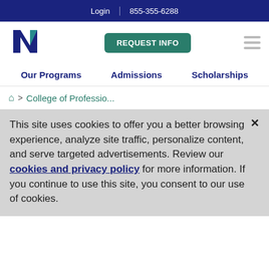Login | 855-355-6288
[Figure (logo): National University logo — stylized N with teal accent]
REQUEST INFO
Our Programs
Admissions
Scholarships
🏠 > College of Professio...
This site uses cookies to offer you a better browsing experience, analyze site traffic, personalize content, and serve targeted advertisements. Review our cookies and privacy policy for more information. If you continue to use this site, you consent to our use of cookies.